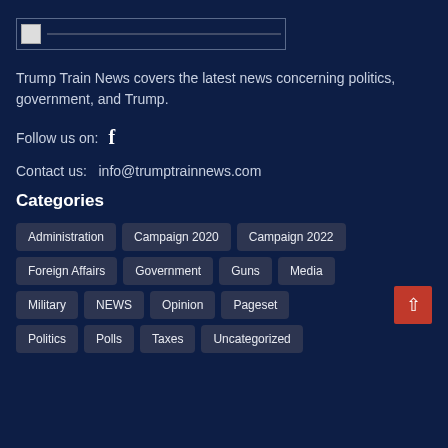[Figure (logo): Broken/placeholder logo image in a bordered box]
Trump Train News covers the latest news concerning politics, government, and Trump.
Follow us on: [Facebook icon]
Contact us:   info@trumptrainnews.com
Categories
Administration
Campaign 2020
Campaign 2022
Foreign Affairs
Government
Guns
Media
Military
NEWS
Opinion
Pageset
Politics
Polls
Taxes
Uncategorized